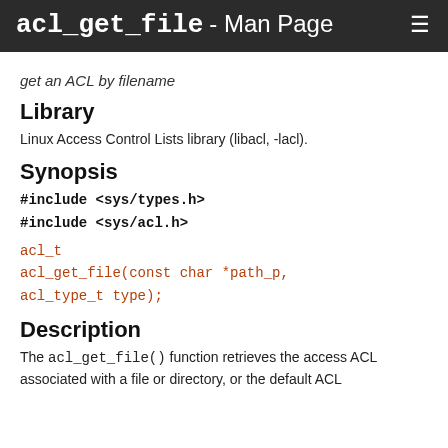acl_get_file - Man Page ☰
get an ACL by filename
Library
Linux Access Control Lists library (libacl, -lacl).
Synopsis
#include <sys/types.h>
#include <sys/acl.h>
acl_t
acl_get_file(const char *path_p,
acl_type_t type);
Description
The acl_get_file() function retrieves the access ACL associated with a file or directory, or the default ACL